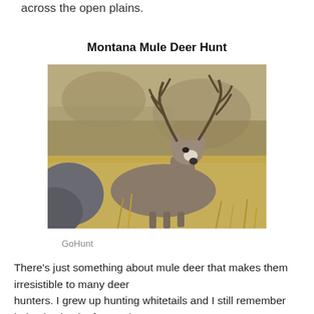across the open plains.
Montana Mule Deer Hunt
[Figure (photo): A mule deer buck with large antlers standing in dry golden grass against a rocky background. Photo credit: GoHunt.]
GoHunt
There’s just something about mule deer that makes them irresistible to many deer hunters. I grew up hunting whitetails and I still remember being in shock after seeing my first mule deer buck (which, looking back on it, wasn’t